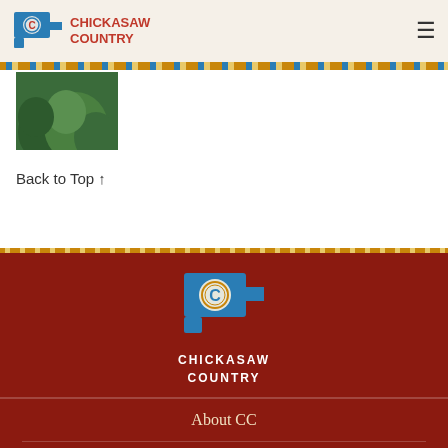Chickasaw Country
[Figure (photo): Small thumbnail image showing green foliage/trees]
Back to Top ↑
[Figure (logo): Chickasaw Country logo in footer — blue Oklahoma state silhouette with circular C emblem, white text CHICKASAW COUNTRY]
About CC
CC Tourism Centers
Contact Us